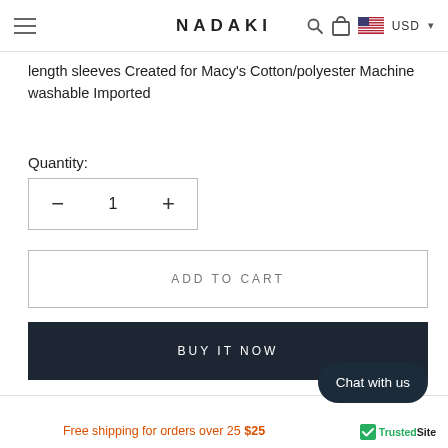NADAKI — USD
length sleeves Created for Macy's Cotton/polyester Machine washable Imported
Quantity:
— 1 +
ADD TO CART
BUY IT NOW
Chat with us
Free shipping for orders over 25 $25
[Figure (logo): TrustedSite badge with green checkmark]